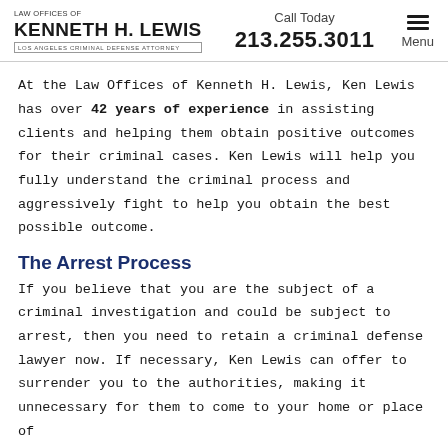LAW OFFICES OF KENNETH H. LEWIS | LOS ANGELES CRIMINAL DEFENSE ATTORNEY | Call Today 213.255.3011 | Menu
At the Law Offices of Kenneth H. Lewis, Ken Lewis has over 42 years of experience in assisting clients and helping them obtain positive outcomes for their criminal cases. Ken Lewis will help you fully understand the criminal process and aggressively fight to help you obtain the best possible outcome.
The Arrest Process
If you believe that you are the subject of a criminal investigation and could be subject to arrest, then you need to retain a criminal defense lawyer now. If necessary, Ken Lewis can offer to surrender you to the authorities, making it unnecessary for them to come to your home or place of